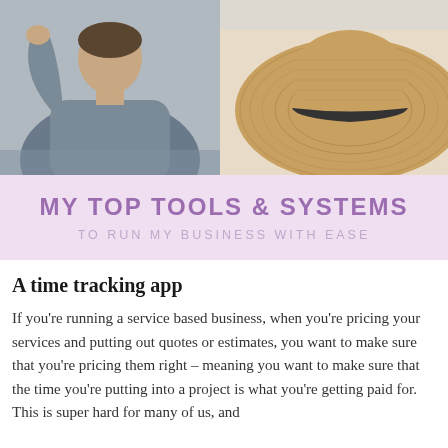[Figure (photo): Top portion split: left half shows a person in a grey shirt with arm raised, right half shows a woven straw sun hat with dark band on light background.]
MY TOP TOOLS & SYSTEMS
TO RUN MY BUSINESS WITH EASE
A time tracking app
If you're running a service based business, when you're pricing your services and putting out quotes or estimates, you want to make sure that you're pricing them right – meaning you want to make sure that the time you're putting into a project is what you're getting paid for. This is super hard for many of us, and